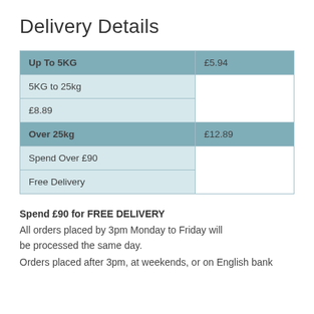Delivery Details
| Up To 5KG | £5.94 |
| 5KG to 25kg |  |
| £8.89 |  |
| Over 25kg | £12.89 |
| Spend Over £90 |  |
| Free Delivery |  |
Spend £90 for FREE DELIVERY
All orders placed by 3pm Monday to Friday will be processed the same day.
Orders placed after 3pm, at weekends, or on English bank